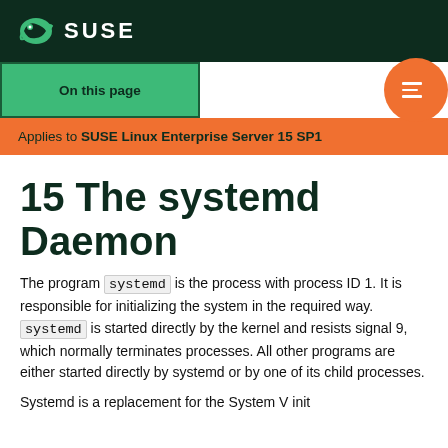SUSE
On this page
Applies to SUSE Linux Enterprise Server 15 SP1
15 The systemd Daemon
The program systemd is the process with process ID 1. It is responsible for initializing the system in the required way. systemd is started directly by the kernel and resists signal 9, which normally terminates processes. All other programs are either started directly by systemd or by one of its child processes.
Systemd is a replacement for the System V init